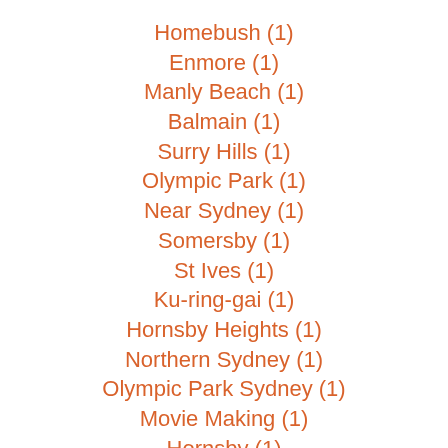Homebush (1)
Enmore (1)
Manly Beach (1)
Balmain (1)
Surry Hills (1)
Olympic Park (1)
Near Sydney (1)
Somersby (1)
St Ives (1)
Ku-ring-gai (1)
Hornsby Heights (1)
Northern Sydney (1)
Olympic Park Sydney (1)
Movie Making (1)
Hornsby (1)
Suburb (1)